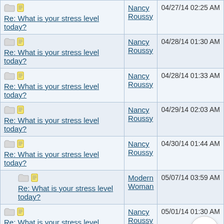| Topic | Author | Date |
| --- | --- | --- |
| Re: What is your stress level today? | Nancy Roussy | 04/27/14 02:25 AM |
| Re: What is your stress level today? | Nancy Roussy | 04/28/14 01:30 AM |
| Re: What is your stress level today? | Nancy Roussy | 04/28/14 01:33 AM |
| Re: What is your stress level today? | Nancy Roussy | 04/29/14 02:03 AM |
| Re: What is your stress level today? | Nancy Roussy | 04/30/14 01:44 AM |
| Re: What is your stress level today? | Modern Woman | 05/07/14 03:59 AM |
| Re: What is your stress level today? | Nancy Roussy | 05/01/14 01:30 AM |
| Re: What is your stress level today? | Nancy Roussy | 05/02/14 03:43 AM |